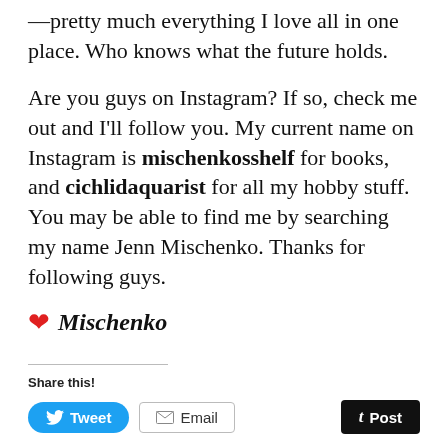—pretty much everything I love all in one place. Who knows what the future holds.
Are you guys on Instagram? If so, check me out and I'll follow you. My current name on Instagram is mischenkosshelf for books, and cichlidaquarist for all my hobby stuff. You may be able to find me by searching my name Jenn Mischenko. Thanks for following guys.
❤ Mischenko
Share this!
Tweet  Email  Post